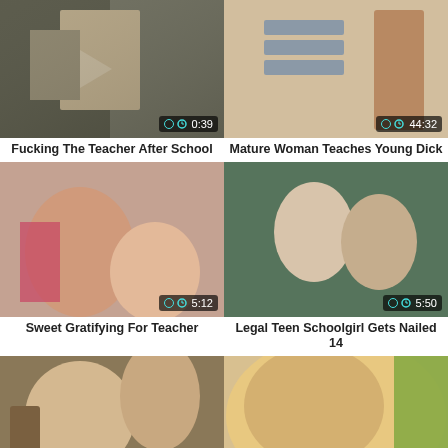[Figure (screenshot): Video thumbnail: Fucking The Teacher After School, duration 0:39]
[Figure (screenshot): Video thumbnail: Mature Woman Teaches Young Dick, duration 44:32]
Fucking The Teacher After School
Mature Woman Teaches Young Dick
[Figure (screenshot): Video thumbnail: Sweet Gratifying For Teacher, duration 5:12]
[Figure (screenshot): Video thumbnail: Legal Teen Schoolgirl Gets Nailed 14, duration 5:50]
Sweet Gratifying For Teacher
Legal Teen Schoolgirl Gets Nailed 14
[Figure (screenshot): Video thumbnail: partial, no title shown (bottom left)]
[Figure (screenshot): Video thumbnail: partial, no title shown (bottom right)]